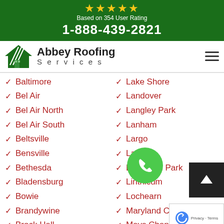[Figure (infographic): Green banner with 5 gold stars, 'Based on 354 User Rating', phone number 1-888-439-2821]
[Figure (logo): Abbey Roofing Services logo with green house/roof icon and company name]
Baltimore
Lake Shore
Bel Air
Landover
Bel Air North
Langley Park
Bel Air South
Lanham
Beltsville
Largo
Bensville
Laurel
Bethesda
Lexington Park
Bladensburg
Linthicum
Bowie
Lochearn
Brandywine
Maryland City
Brock Hall
Mays Chapel